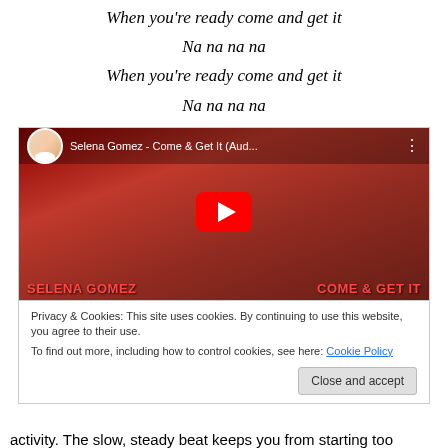When you're ready come and get it
Na na na na
When you're ready come and get it
Na na na na
[Figure (screenshot): YouTube video embed showing Selena Gomez - Come & Get It (Aud...) with a red-themed thumbnail showing Selena Gomez and a YouTube play button. Below the video is a cookie consent notice with 'Privacy & Cookies: This site uses cookies. By continuing to use this website, you agree to their use. To find out more, including how to control cookies, see here: Cookie Policy' and a 'Close and accept' button.]
activity. The slow, steady beat keeps you from starting too